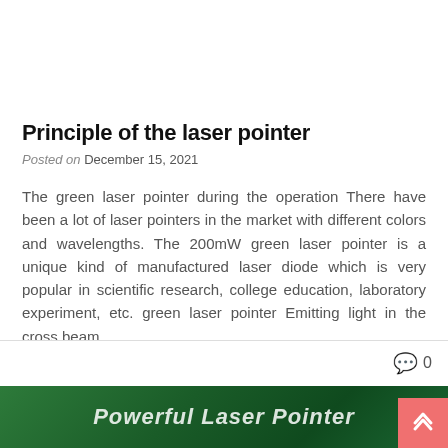Principle of the laser pointer
Posted on December 15, 2021
The green laser pointer during the operation There have been a lot of laser pointers in the market with different colors and wavelengths. The 200mW green laser pointer is a unique kind of manufactured laser diode which is very popular in scientific research, college education, laboratory experiment, etc. green laser pointer Emitting light in the cross beam…
[Figure (other): Green banner with text 'Powerful Laser Pointer' and a back-to-top button]
0